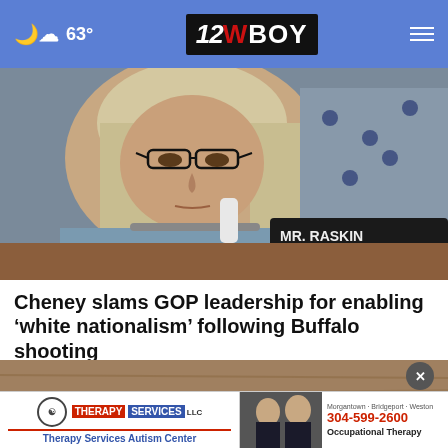63° | 12 WBOY
[Figure (photo): Close-up photo of a woman with blonde hair and glasses, seated at a congressional hearing desk. A nameplate partially visible in background, and a US flag visible behind her.]
Cheney slams GOP leadership for enabling ‘white nationalism’ following Buffalo shooting
[Figure (photo): Background photo showing a wooden surface with what appears to be an ad overlay. Ad shows Therapy Services LLC (Therapy Services Autism Center) on the left and Occupational Therapy with phone number 304-599-2600 and cities Morgantown, Bridgeport, Weston on the right.]